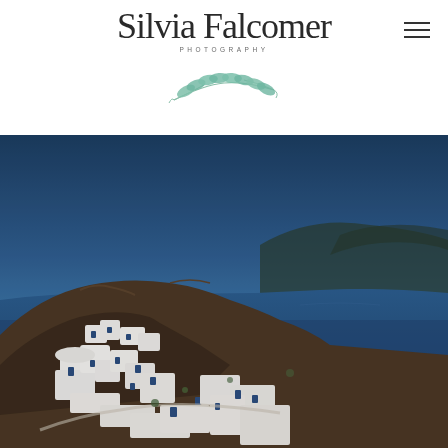[Figure (logo): Silvia Falcomer Photography logo with cursive script text and watercolor eucalyptus leaf branch decoration]
[Figure (photo): Scenic photograph of Santorini, Greece showing white-washed buildings with blue accents built into a rocky cliffside, with the deep blue Aegean Sea and mountainous caldera visible in the background under a clear blue sky]